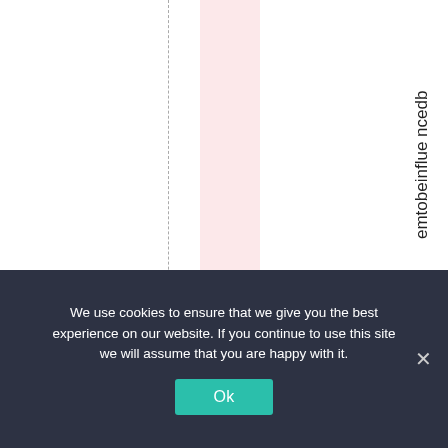[Figure (other): Webpage layout showing vertical dashed grid lines with a pink highlighted column and vertical text reading 'emtobeinflue ncedب' on the right side]
We use cookies to ensure that we give you the best experience on our website. If you continue to use this site we will assume that you are happy with it.
Ok